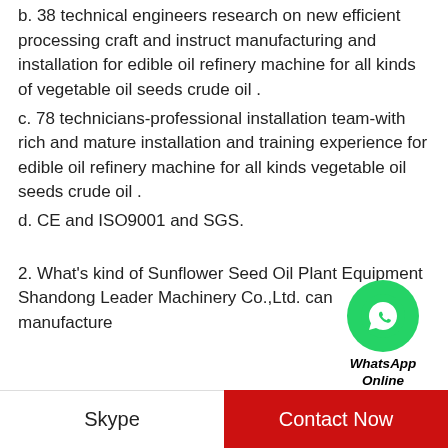b. 38 technical engineers research on new efficient processing craft and instruct manufacturing and installation for edible oil refinery machine for all kinds of vegetable oil seeds crude oil .
c. 78 technicians-professional installation team-with rich and mature installation and training experience for edible oil refinery machine for all kinds vegetable oil seeds crude oil .
d. CE and ISO9001 and SGS.
[Figure (logo): WhatsApp Online chat widget with green circle phone icon and text 'WhatsApp Online']
2. What's kind of Sunflower Seed Oil Plant Equipment Shandong Leader Machinery Co.,Ltd. can manufacture
Skype   Contact Now